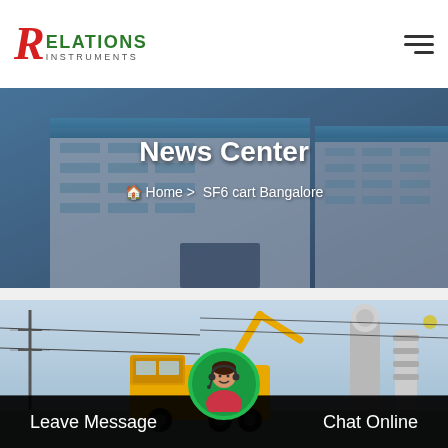[Figure (logo): Relations Instruments logo with red stylized R and green RELATIONS text]
[Figure (photo): Industrial building aerial view used as hero banner background]
News Center
Home > SF6 cart Bangalore
[Figure (photo): Yellow ISUZU truck at electrical substation with high-voltage equipment and power lines]
Leave Message   Chat Online